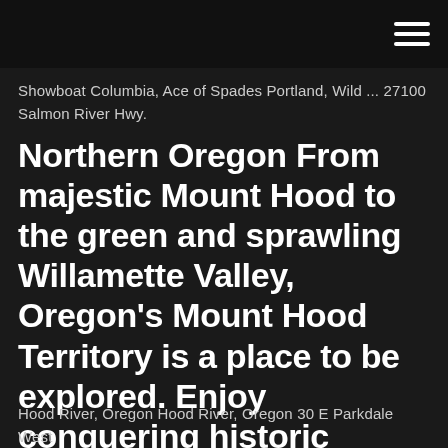Showboat Columbia, Ace of Spades Portland, Wild ... 27100 Salmon River Hwy.
Northern Oregon From majestic Mount Hood to the green and sprawling Willamette Valley, Oregon's Mount Hood Territory is a place to be explored. Enjoy conquering historic hiking trails or take on Mount Hood on skis for an experience not soon to be forgotten.
Hood River, Oregon Hood River, Oregon 30 E Parkdale West